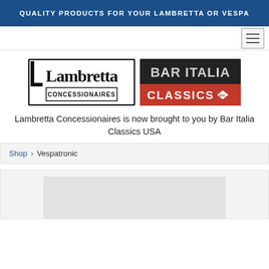QUALITY PRODUCTS FOR YOUR LAMBRETTA OR VESPA
[Figure (logo): Lambretta Concessionaires and Bar Italia Classics Inc. logos side by side]
Lambretta Concessionaires is now brought to you by Bar Italia Classics USA
Shop › Vespatronic